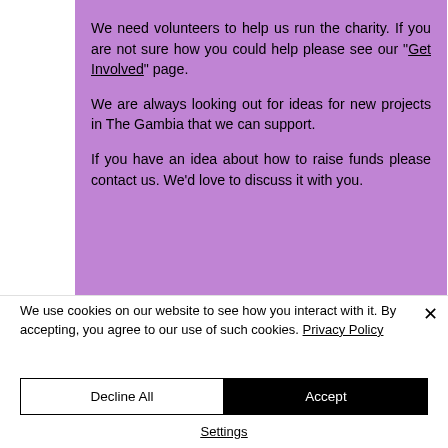We need volunteers to help us run the charity. If you are not sure how you could help please see our "Get Involved" page.

We are always looking out for ideas for new projects in The Gambia that we can support.

If you have an idea about how to raise funds please contact us. We'd love to discuss it with you.
We use cookies on our website to see how you interact with it. By accepting, you agree to our use of such cookies. Privacy Policy
Decline All
Accept
Settings